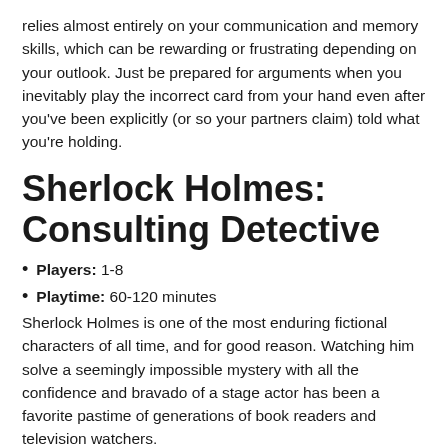relies almost entirely on your communication and memory skills, which can be rewarding or frustrating depending on your outlook. Just be prepared for arguments when you inevitably play the incorrect card from your hand even after you've been explicitly (or so your partners claim) told what you're holding.
Sherlock Holmes: Consulting Detective
Players: 1-8
Playtime: 60-120 minutes
Sherlock Holmes is one of the most enduring fictional characters of all time, and for good reason. Watching him solve a seemingly impossible mystery with all the confidence and bravado of a stage actor has been a favorite pastime of generations of book readers and television watchers.